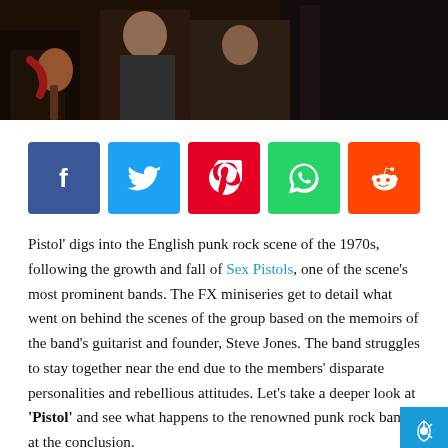[Figure (photo): Dark photo of people at what appears to be a punk rock event; left side shows a hand holding a microphone with a red scarf, people in dark clothing in background]
[Figure (infographic): Five social media share buttons: Facebook (blue), Twitter (light blue), Pinterest (red), WhatsApp (green), Reddit (orange)]
Pistol' digs into the English punk rock scene of the 1970s, following the growth and fall of Sex Pistols, one of the scene's most prominent bands. The FX miniseries get to detail what went on behind the scenes of the group based on the memoirs of the band's guitarist and founder, Steve Jones. The band struggles to stay together near the end due to the members' disparate personalities and rebellious attitudes. Let's take a deeper look at 'Pistol' and see what happens to the renowned punk rock band at the conclusion.